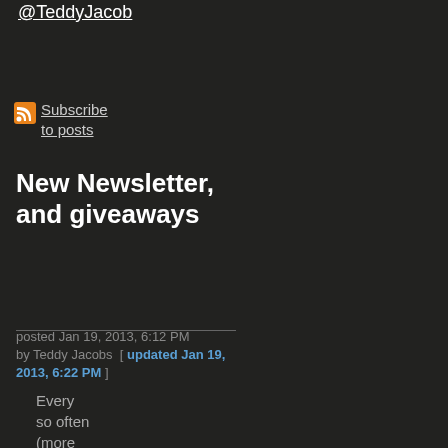@TeddyJacob
Subscribe to posts
New Newsletter, and giveaways
posted Jan 19, 2013, 6:12 PM by Teddy Jacobs  [ updated Jan 19, 2013, 6:22 PM ]
Every so often (more often I